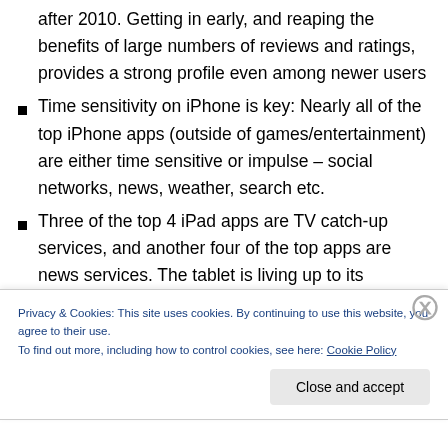after 2010. Getting in early, and reaping the benefits of large numbers of reviews and ratings, provides a strong profile even among newer users
Time sensitivity on iPhone is key: Nearly all of the top iPhone apps (outside of games/entertainment) are either time sensitive or impulse – social networks, news, weather, search etc.
Three of the top 4 iPad apps are TV catch-up services, and another four of the top apps are news services. The tablet is living up to its reputation for lean-back media consumption.
Privacy & Cookies: This site uses cookies. By continuing to use this website, you agree to their use.
To find out more, including how to control cookies, see here: Cookie Policy